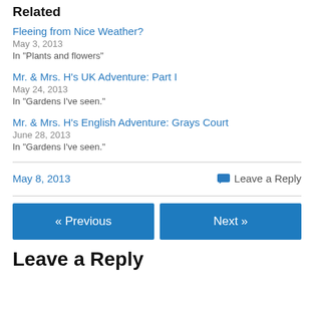Related
Fleeing from Nice Weather?
May 3, 2013
In "Plants and flowers"
Mr. & Mrs. H's UK Adventure: Part I
May 24, 2013
In "Gardens I've seen."
Mr. & Mrs. H's English Adventure: Grays Court
June 28, 2013
In "Gardens I've seen."
May 8, 2013
Leave a Reply
« Previous
Next »